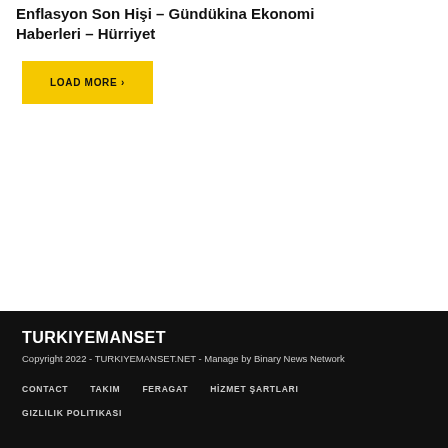Enflasyon Son Hişi – Gündükina Ekonomi Haberleri – Hürriyet
LOAD MORE ›
TURKIYEMANSET
Copyright 2022 - TURKIYEMANSET.NET - Manage by Binary News Network
CONTACT
TAKIM
FERAGAT
HİZMET ŞARTLARI
GIZLILIK POLITIKASI